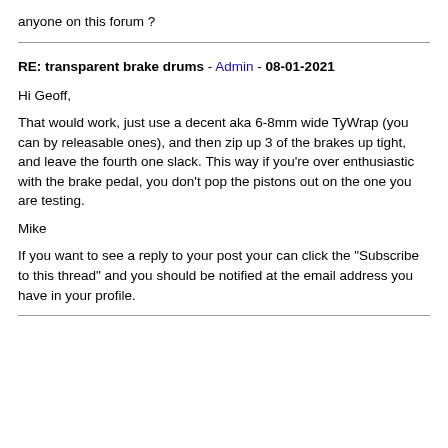would love to test the whole system whilst the car is up on jacks with all wheels removed. I want to see each of the slaves ( can I say that word here) in turn operate and return nicely. All I can think of is to clamp three of the four sets of shoes and watch the fourth operate - then repeat the procedure for each of the other wheels -unless one of you clever people can come up with another idea ?
RE: transparent brake drums - geoff - 07-29-2021
anyone on this forum ?
RE: transparent brake drums - Admin - 08-01-2021
Hi Geoff,

That would work, just use a decent aka 6-8mm wide TyWrap (you can by releasable ones), and then zip up 3 of the brakes up tight, and leave the fourth one slack. This way if you're over enthusiastic with the brake pedal, you don't pop the pistons out on the one you are testing.

Mike

If you want to see a reply to your post your can click the "Subscribe to this thread" and you should be notified at the email address you have in your profile.